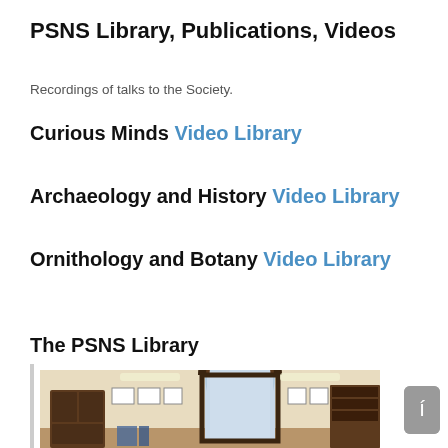PSNS Library, Publications, Videos
Recordings of talks to the Society.
Curious Minds Video Library
Archaeology and History Video Library
Ornithology and Botany Video Library
The PSNS Library
[Figure (photo): Interior of the PSNS Library showing wooden furniture, arched window, and framed pictures on the wall]